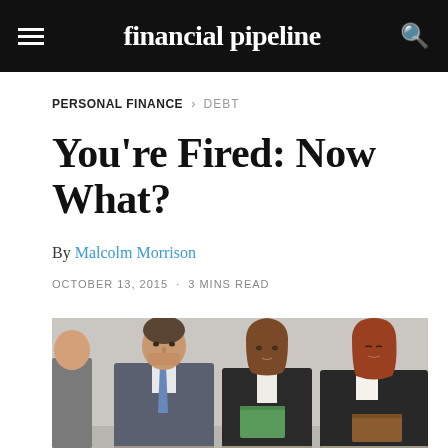financial pipeline
PERSONAL FINANCE > DEBT
You're Fired: Now What?
By Malcolm Morrison
OCTOBER 13, 2015 · 3 MINS READ
[Figure (photo): Three business professionals (two women, one man) sitting in a row waiting, likely for a job interview. The man is wearing a suit with a blue tie, and the women are in dark business attire. One woman holds a green folder, another holds a brown folder.]